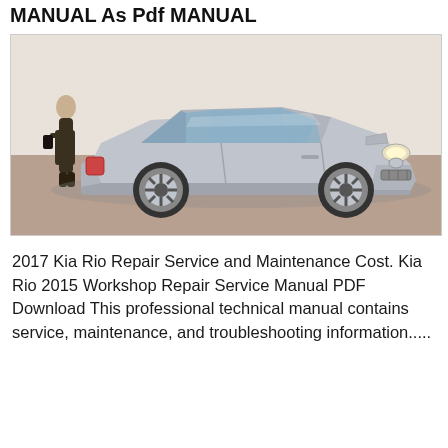MANUAL As Pdf MANUAL
[Figure (photo): Silver Kia Rio sedan parked, viewed from front-right angle, with a person standing near the rear on the left side. Background shows a light-colored wall/building.]
2017 Kia Rio Repair Service and Maintenance Cost. Kia Rio 2015 Workshop Repair Service Manual PDF Download This professional technical manual contains service, maintenance, and troubleshooting information.....